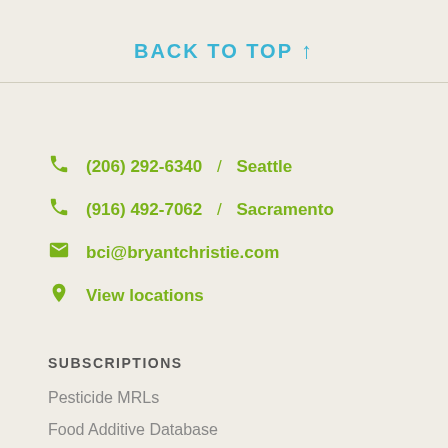BACK TO TOP ↑
(206) 292-6340 / Seattle
(916) 492-7062 / Sacramento
bci@bryantchristie.com
View locations
SUBSCRIPTIONS
Pesticide MRLs
Food Additive Database
Contaminant Limits